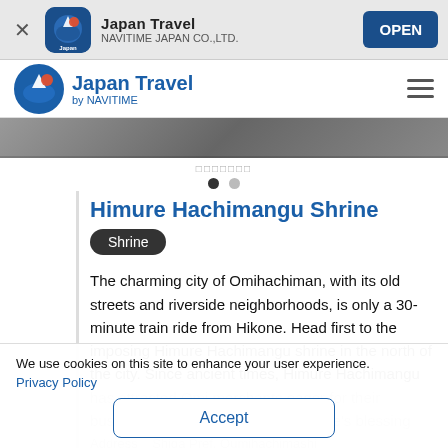Japan Travel - NAVITIME JAPAN CO.,LTD. - OPEN
[Figure (screenshot): Japan Travel by NAVITIME website header with logo and hamburger menu]
[Figure (photo): Photo strip of a city street scene]
□□□□□□□
Himure Hachimangu Shrine
Shrine
The charming city of Omihachiman, with its old streets and riverside neighborhoods, is only a 30-minute train ride from Hikone. Head first to the imposing Himure Hachimangu shrine in the north of the city. Since ancient times, Himure Hachimangu has attracted Omi merchants eager for their businesses to prosper from the shrine's blessing
We use cookies on this site to enhance your user experience.
Privacy Policy
Accept
Address   Shiga Pref. Oumihachimashi